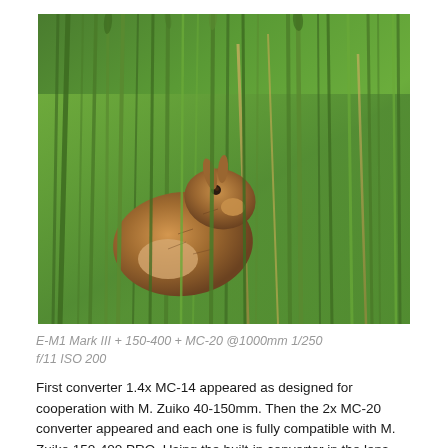[Figure (photo): A hare sitting among tall green grass, photographed at close range with a telephoto lens. The animal is partially obscured by grass blades.]
E-M1 Mark III + 150-400 + MC-20 @1000mm 1/250 f/11 ISO 200
First converter 1.4x MC-14 appeared as designed for cooperation with M. Zuiko 40-150mm. Then the 2x MC-20 converter appeared and each one is fully compatible with M. Zuiko 150-400 PRO. Using the built-in converter in the lens and the attached MC-20 converter we get a focal length of 1000mm and the angle of view